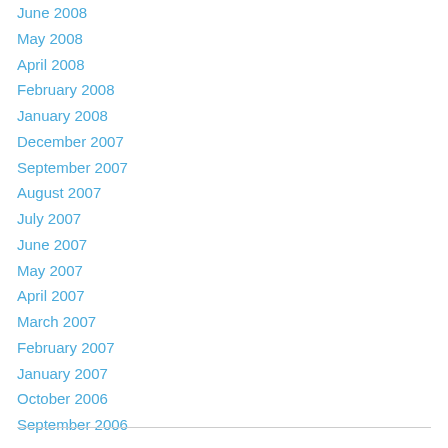June 2008
May 2008
April 2008
February 2008
January 2008
December 2007
September 2007
August 2007
July 2007
June 2007
May 2007
April 2007
March 2007
February 2007
January 2007
October 2006
September 2006